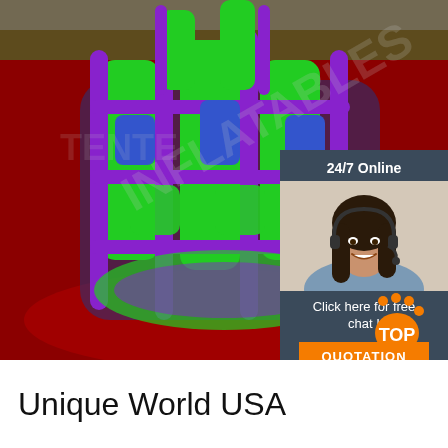[Figure (photo): Aerial view of a large inflatable obstacle course/water slide structure with purple, green, and blue colors on a red tarp, viewed from above outdoors.]
[Figure (photo): Customer service agent widget showing a smiling woman with a headset, with '24/7 Online' header, 'Click here for free chat!' text, and an orange QUOTATION button on a dark slate background.]
[Figure (other): Orange TOP badge/logo in bottom right corner of image.]
Unique World USA